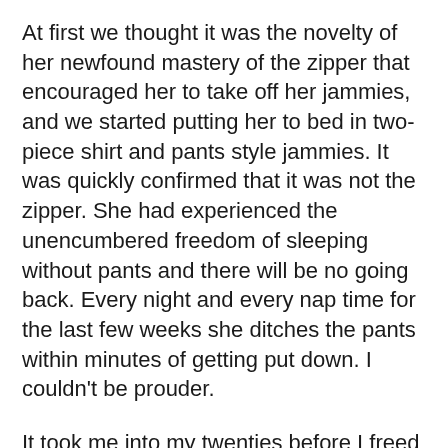At first we thought it was the novelty of her newfound mastery of the zipper that encouraged her to take off her jammies, and we started putting her to bed in two-piece shirt and pants style jammies. It was quickly confirmed that it was not the zipper. She had experienced the unencumbered freedom of sleeping without pants and there will be no going back. Every night and every nap time for the last few weeks she ditches the pants within minutes of getting put down. I couldn't be prouder.
It took me into my twenties before I freed myself from the confines of pajamas, and this little smarty no-pants has figured it out in two years. At first I was a little worried that is would become an all day thing. Kids will be kids, but it would be strange for her to develop the habit of departsing to go on the swings. Though now